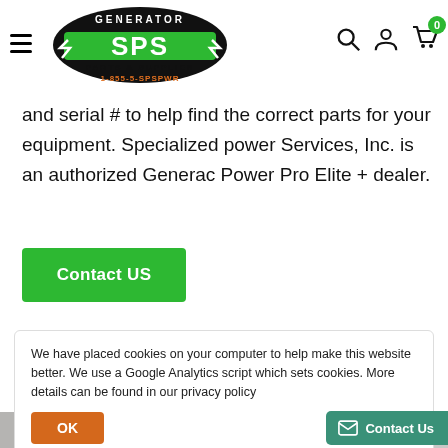[Figure (logo): Generator SPS Parts & Supplies logo with green SPS text, lightning bolts, and phone number 1-855-5-SPSPWR]
and serial # to help find the correct parts for your equipment. Specialized power Services, Inc. is an authorized Generac Power Pro Elite + dealer.
Contact US
We have placed cookies on your computer to help make this website better. We use a Google Analytics script which sets cookies. More details can be found in our privacy policy
OK
Contact Us